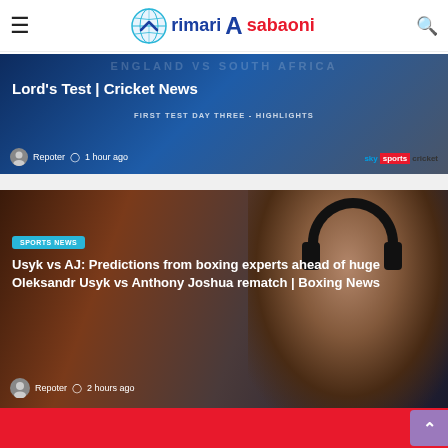rimari Asabaoni — site header with logo, hamburger menu, and search icon
[Figure (screenshot): Cricket news card: England vs South Africa First Test Day Three Highlights — Lord's Test | Cricket News, Sky Sports Cricket. Reporter, 1 hour ago.]
[Figure (photo): Boxing news card with image of a man wearing headphones. Category badge: SPORTS NEWS. Title: Usyk vs AJ: Predictions from boxing experts ahead of huge Oleksandr Usyk vs Anthony Joshua rematch | Boxing News. Reporter, 2 hours ago.]
[Figure (screenshot): Partial red card/banner at the bottom of the page with a scroll-to-top purple button.]